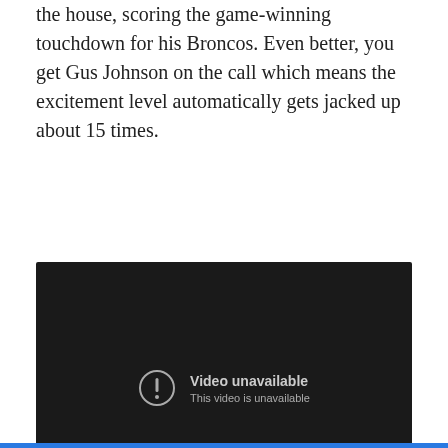the house, scoring the game-winning touchdown for his Broncos. Even better, you get Gus Johnson on the call which means the excitement level automatically gets jacked up about 15 times.
[Figure (screenshot): Embedded YouTube video player showing 'Video unavailable. This video is unavailable.' message on a dark background with YouTube logo in bottom right corner.]
September 14, 2009
Leave a Reply